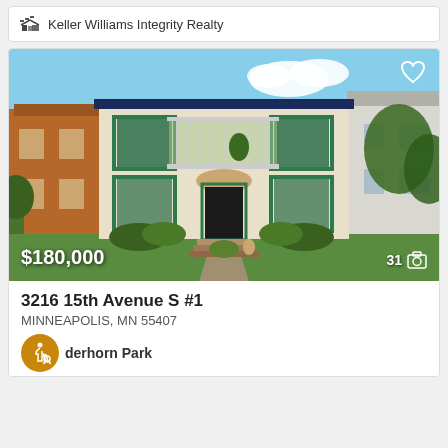Keller Williams Integrity Realty
[Figure (photo): Exterior photo of a two-story stucco house with green window trim, a balcony on the second floor, and a front entrance with steps. Neighboring houses visible on left (brick) and right (white). Price overlay shows $180,000, photo count shows 31.]
3216 15th Avenue S #1
MINNEAPOLIS, MN 55407
derhorn Park